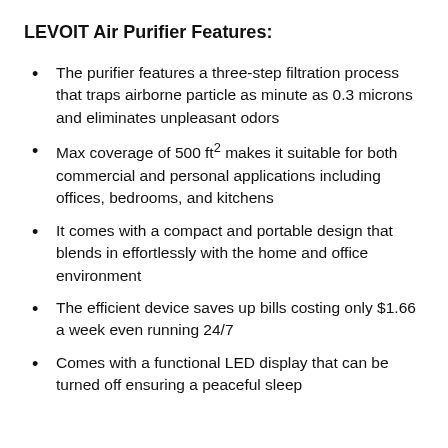LEVOIT Air Purifier Features:
The purifier features a three-step filtration process that traps airborne particle as minute as 0.3 microns and eliminates unpleasant odors
Max coverage of 500 ft² makes it suitable for both commercial and personal applications including offices, bedrooms, and kitchens
It comes with a compact and portable design that blends in effortlessly with the home and office environment
The efficient device saves up bills costing only $1.66 a week even running 24/7
Comes with a functional LED display that can be turned off ensuring a peaceful sleep